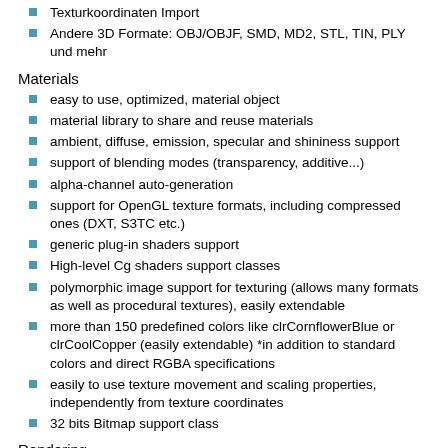Texturkoordinaten Import
Andere 3D Formate: OBJ/OBJF, SMD, MD2, STL, TIN, PLY und mehr
Materials
easy to use, optimized, material object
material library to share and reuse materials
ambient, diffuse, emission, specular and shininess support
support of blending modes (transparency, additive...)
alpha-channel auto-generation
support for OpenGL texture formats, including compressed ones (DXT, S3TC etc.)
generic plug-in shaders support
High-level Cg shaders support classes
polymorphic image support for texturing (allows many formats as well as procedural textures), easily extendable
more than 150 predefined colors like clrCornflowerBlue or clrCoolCopper (easily extendable) *in addition to standard colors and direct RGBA specifications
easily to use texture movement and scaling properties, independently from texture coordinates
32 bits Bitmap support class
Rendering
automatically uses the hardware OpenGL driver if available